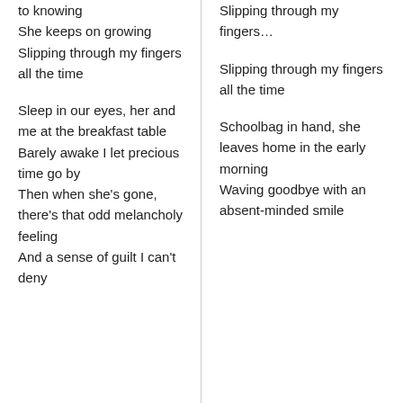to knowing
She keeps on growing
Slipping through my fingers all the time
Sleep in our eyes, her and me at the breakfast table
Barely awake I let precious time go by
Then when she's gone, there's that odd melancholy feeling
And a sense of guilt I can't deny
Slipping through my fingers…
Slipping through my fingers all the time
Schoolbag in hand, she leaves home in the early morning
Waving goodbye with an absent-minded smile